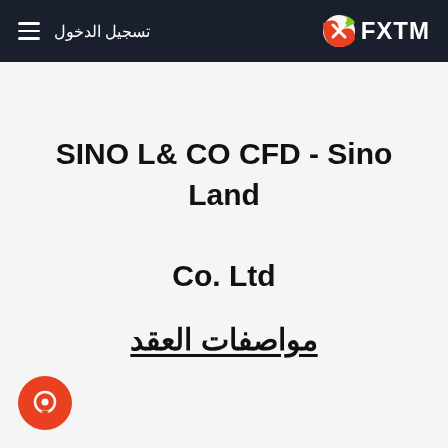تسجيل الدخول  FXTM
SINO L& CO CFD - Sino Land Co. Ltd
مواصفات العقد